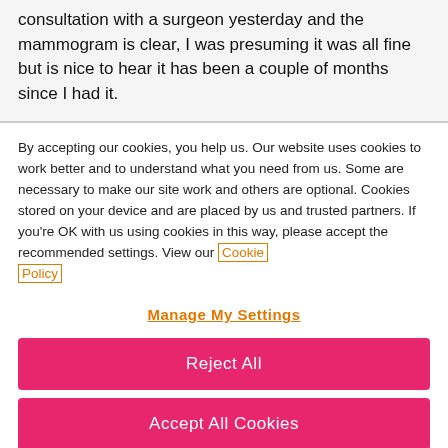consultation with a surgeon yesterday and the mammogram is clear, I was presuming it was all fine but is nice to hear it has been a couple of months since I had it.
By accepting our cookies, you help us. Our website uses cookies to work better and to understand what you need from us. Some are necessary to make our site work and others are optional. Cookies stored on your device and are placed by us and trusted partners. If you're OK with us using cookies in this way, please accept the recommended settings. View our Cookie Policy
Manage My Settings
Reject All
Accept All Cookies